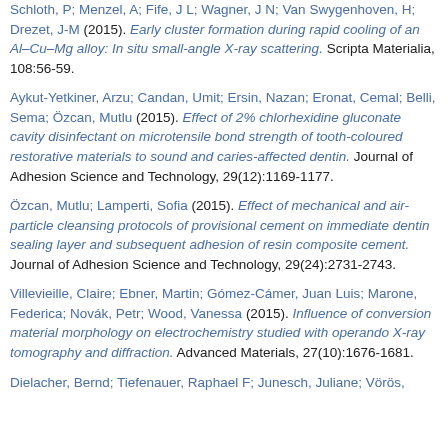Schloth, P; Menzel, A; Fife, J L; Wagner, J N; Van Swygenhoven, H; Drezet, J-M (2015). Early cluster formation during rapid cooling of an Al–Cu–Mg alloy: In situ small-angle X-ray scattering. Scripta Materialia, 108:56-59.
Aykut-Yetkiner, Arzu; Candan, Umit; Ersin, Nazan; Eronat, Cemal; Belli, Sema; Özcan, Mutlu (2015). Effect of 2% chlorhexidine gluconate cavity disinfectant on microtensile bond strength of tooth-coloured restorative materials to sound and caries-affected dentin. Journal of Adhesion Science and Technology, 29(12):1169-1177.
Özcan, Mutlu; Lamperti, Sofia (2015). Effect of mechanical and air-particle cleansing protocols of provisional cement on immediate dentin sealing layer and subsequent adhesion of resin composite cement. Journal of Adhesion Science and Technology, 29(24):2731-2743.
Villevieille, Claire; Ebner, Martin; Gómez-Cámer, Juan Luis; Marone, Federica; Novák, Petr; Wood, Vanessa (2015). Influence of conversion material morphology on electrochemistry studied with operando X-ray tomography and diffraction. Advanced Materials, 27(10):1676-1681.
Dielacher, Bernd; Tiefenauer, Raphael F; Junesch, Juliane; Vörös, ...